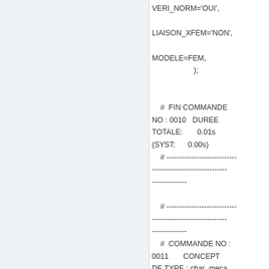VERI_NORM='OUI',

LIAISON_XFEM='NON',

MODELE=FEM,
                    );


    #  FIN COMMANDE NO : 0010   DUREE TOTALE:       0.01s (SYST:      0.00s)
    # ------------------------------------------------------------------

    # ------------------------------------------------------------------
    #  COMMANDE NO : 0011       CONCEPT DE TYPE : char_meca
    #